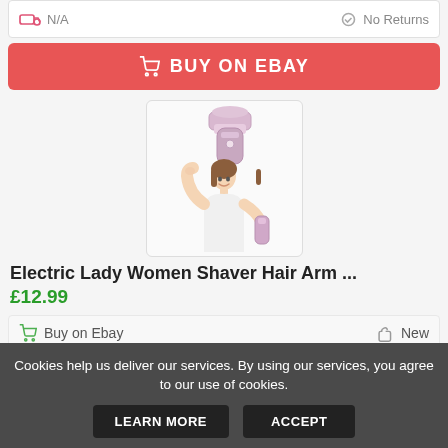N/A | No Returns
BUY ON EBAY
[Figure (photo): Product listing image: a pink/lavender electric lady shaver device shown above a woman in white top shaving her underarm area.]
Electric Lady Women Shaver Hair Arm ...
£12.99
Buy on Ebay | New
Cookies help us deliver our services. By using our services, you agree to our use of cookies.
LEARN MORE
ACCEPT